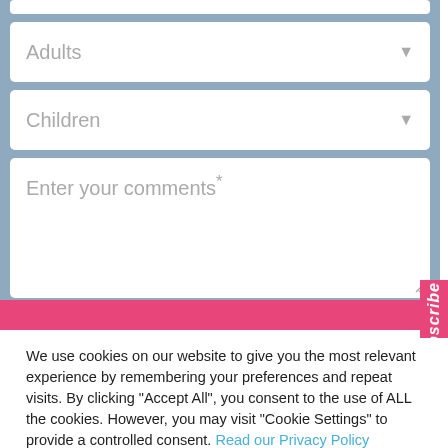[Figure (screenshot): Web form with blue-gray background containing dropdown fields for Adults and Children, a textarea for comments, and a pink submit button bar. A pink Subscribe tab is visible on the right edge.]
We use cookies on our website to give you the most relevant experience by remembering your preferences and repeat visits. By clicking "Accept All", you consent to the use of ALL the cookies. However, you may visit "Cookie Settings" to provide a controlled consent. Read our Privacy Policy
Cookie Settings
Accept All